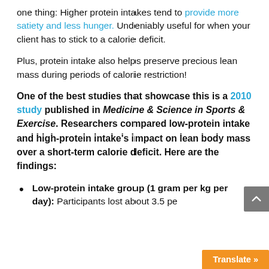one thing: Higher protein intakes tend to provide more satiety and less hunger. Undeniably useful for when your client has to stick to a calorie deficit.
Plus, protein intake also helps preserve precious lean mass during periods of calorie restriction!
One of the best studies that showcase this is a 2010 study published in Medicine & Science in Sports & Exercise. Researchers compared low-protein intake and high-protein intake's impact on lean body mass over a short-term calorie deficit. Here are the findings:
Low-protein intake group (1 gram per kg per day): Participants lost about 3.5 pe...